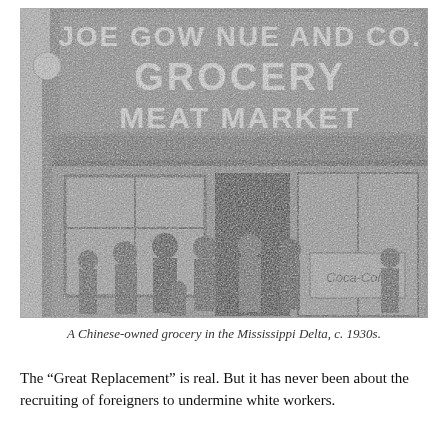[Figure (photo): Black and white photograph of a Chinese-owned grocery store called 'Joe Gow Nue and Co. Grocery Meat Market' in the Mississippi Delta, circa 1930s. Several people are gathered in front of the storefront. A Coca-Cola sign is visible inside.]
A Chinese-owned grocery in the Mississippi Delta, c. 1930s.
The "Great Replacement" is real. But it has never been about the recruiting of foreigners to undermine white workers.